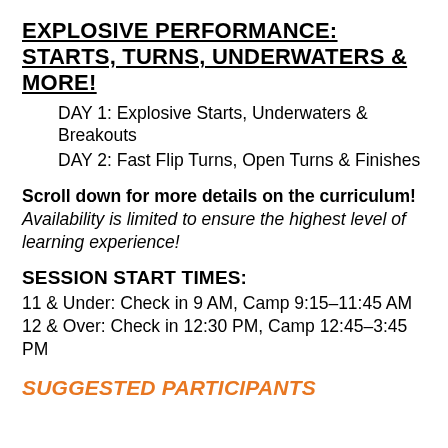EXPLOSIVE PERFORMANCE: STARTS, TURNS, UNDERWATERS & MORE!
DAY 1: Explosive Starts, Underwaters & Breakouts
DAY 2: Fast Flip Turns, Open Turns & Finishes
Scroll down for more details on the curriculum! Availability is limited to ensure the highest level of learning experience!
SESSION START TIMES:
11 & Under: Check in 9 AM, Camp 9:15–11:45 AM
12 & Over: Check in 12:30 PM, Camp 12:45–3:45 PM
SUGGESTED PARTICIPANTS